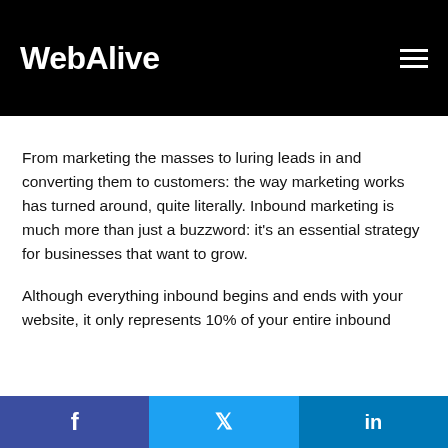WebAlive
From marketing the masses to luring leads in and converting them to customers: the way marketing works has turned around, quite literally. Inbound marketing is much more than just a buzzword: it's an essential strategy for businesses that want to grow.
Although everything inbound begins and ends with your website, it only represents 10% of your entire inbound
f  (twitter bird)  in